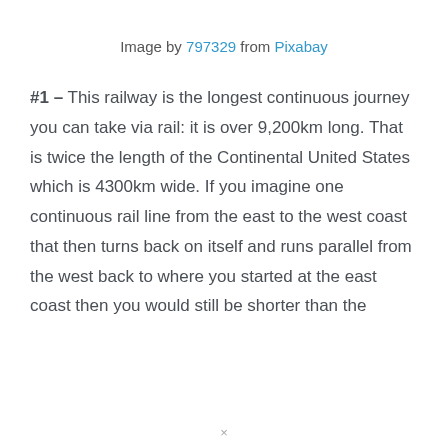Image by 797329 from Pixabay
#1 – This railway is the longest continuous journey you can take via rail: it is over 9,200km long. That is twice the length of the Continental United States which is 4300km wide. If you imagine one continuous rail line from the east to the west coast that then turns back on itself and runs parallel from the west back to where you started at the east coast then you would still be shorter than the
×